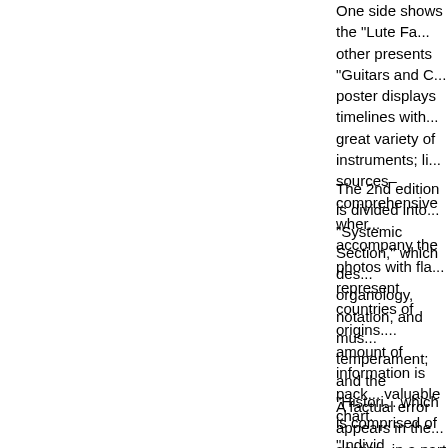One side shows the "Lute Fa... other presents "Guitars and C... poster displays timelines with... great variety of instruments; li... sources–comprehensive wher... accompany the photos with fla... represent countries of origins.... amount of information is pack... valuable chart.
The 2nd edition is divided into... "Systemic Section," which des... organology, notation, and mus... temperament; and the "Histori... which is comprised of "Individ... Instrument Types" and "The H... of the additional contributors'... commentaries appear in the "I... Instrument Types" portion of t... historical section surveys a br... history from medieval Al-Anda... present day, and ends with a l... "who's who" in early music of... century to the present day.
A factual error appears in the... section, in a part entitled "Mus... Proportion" on page 46, in wh... maintains that equal temperar... "...began to be accepted only... century." (Rameau 's advocac... temperament in the early...